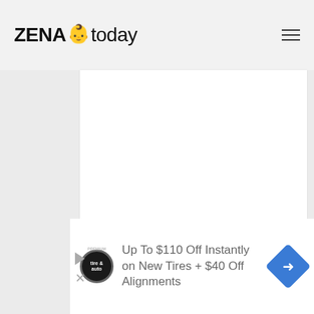[Figure (logo): ZENA today website logo with baby face emoji between ZENA and today]
[Figure (screenshot): White blank content area on grey background]
[Figure (infographic): Advertisement: Up To $110 Off Instantly on New Tires + $40 Off Alignments with Tire and Auto logo and blue diamond arrow icon]